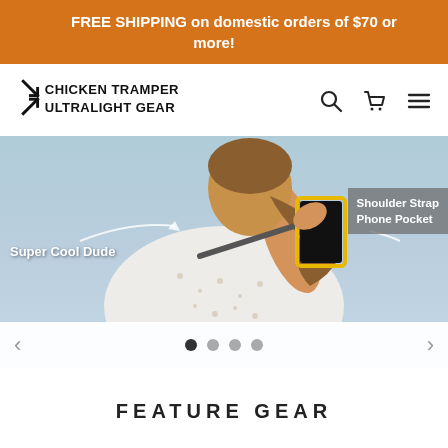FREE SHIPPING on domestic orders of $70 or more!
[Figure (logo): Chicken Tramper Ultralight Gear logo with two arrow icons]
[Figure (photo): Slider image showing a person using a shoulder strap phone pocket, with labels 'Super Cool Dude' and 'Shoulder Strap Phone Pocket'. Navigation arrows and 4 pagination dots below.]
FEATURE GEAR